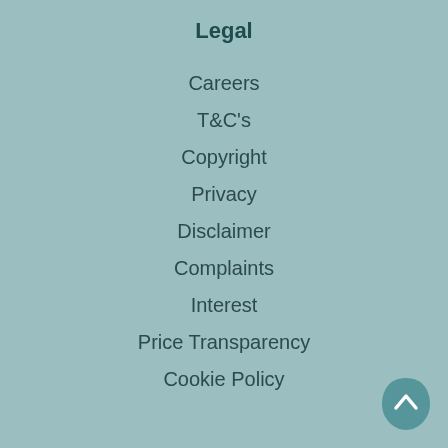Legal
Careers
T&C's
Copyright
Privacy
Disclaimer
Complaints
Interest
Price Transparency
Cookie Policy
[Figure (illustration): Back to top button - a teal leaf-shaped icon with an upward caret arrow]